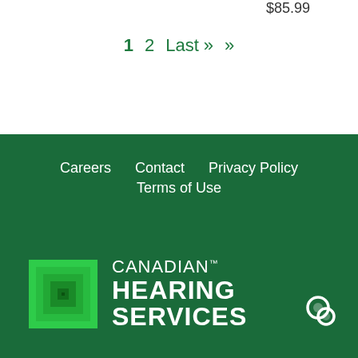$85.99
1  2  Last »  »
Careers  Contact  Privacy Policy  Terms of Use
[Figure (logo): Canadian Hearing Services logo — green square-spiral icon on dark green background with white bold text reading CANADIAN HEARING SERVICES with TM mark]